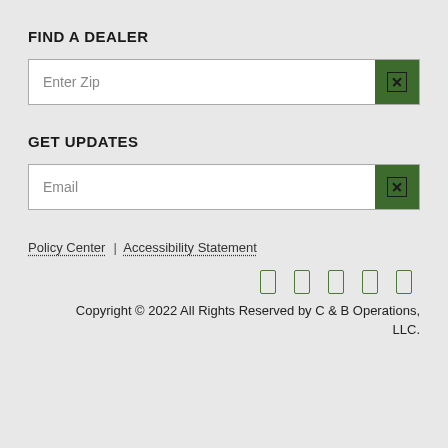FIND A DEALER
[Figure (screenshot): Text input field with placeholder 'Enter Zip' and a green button with X icon on the right]
GET UPDATES
[Figure (screenshot): Text input field with placeholder 'Email' and a green button with X icon on the right]
Policy Center  |  Accessibility Statement
[Figure (other): Five green rectangular social media icon placeholders in a row]
Copyright © 2022 All Rights Reserved by C & B Operations, LLC.